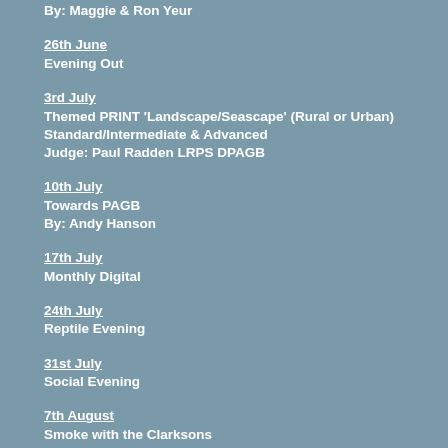By: Maggie & Ron Yeur
26th June
Evening Out
3rd July
Themed PRINT 'Landscape/Seascape' (Rural or Urban)
Standard/Intermediate & Advanced
Judge: Paul Radden LRPS DPAGB
10th July
Towards PAGB
By: Andy Hanson
17th July
Monthly Digital
24th July
Reptile Evening
31st July
Social Evening
7th August
Smoke with the Clarksons
By:Mandy & Gary Clarkson
14th August
Monthly Digital